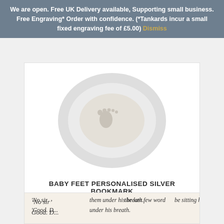We are open. Free UK Delivery available, Supporting small business. Free Engraving* Order with confidence. (*Tankards incur a small fixed engraving fee of £5.00) Dismiss
[Figure (photo): Silver bookmark with baby feet motif on concentric oval rings, product photo on white background]
BABY FEET PERSONALISED SILVER BOOKMARK
£48.00
BUY IT NOW
DETAILS
SHARE
[Figure (photo): Partial view of an open book showing italic text: 'No sir', 'Good. D...', '...them under his breath...', '...the last few word...', '...be sitting he...']